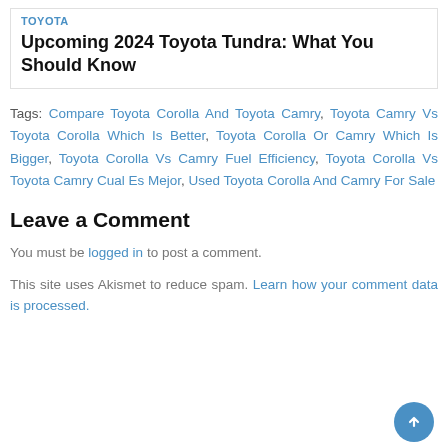TOYOTA
Upcoming 2024 Toyota Tundra: What You Should Know
Tags: Compare Toyota Corolla And Toyota Camry, Toyota Camry Vs Toyota Corolla Which Is Better, Toyota Corolla Or Camry Which Is Bigger, Toyota Corolla Vs Camry Fuel Efficiency, Toyota Corolla Vs Toyota Camry Cual Es Mejor, Used Toyota Corolla And Camry For Sale
Leave a Comment
You must be logged in to post a comment.
This site uses Akismet to reduce spam. Learn how your comment data is processed.